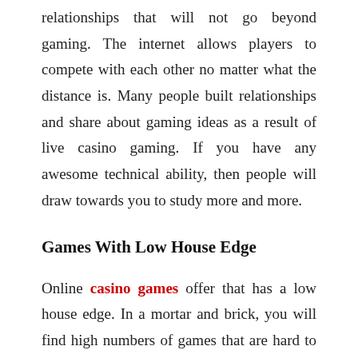relationships that will not go beyond gaming. The internet allows players to compete with each other no matter what the distance is. Many people built relationships and share about gaming ideas as a result of live casino gaming. If you have any awesome technical ability, then people will draw towards you to study more and more.
Games With Low House Edge
Online casino games offer that has a low house edge. In a mortar and brick, you will find high numbers of games that are hard to win. That explains why the physical casino games will fill their floors with the slot machines that have the high house of edge. You stand the chance of winning the amount casino games online when you play games because they provide games that are very simple, and